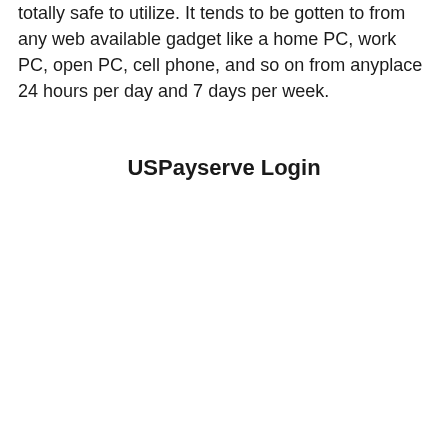totally safe to utilize. It tends to be gotten to from any web available gadget like a home PC, work PC, open PC, cell phone, and so on from anyplace 24 hours per day and 7 days per week.
USPayserve Login